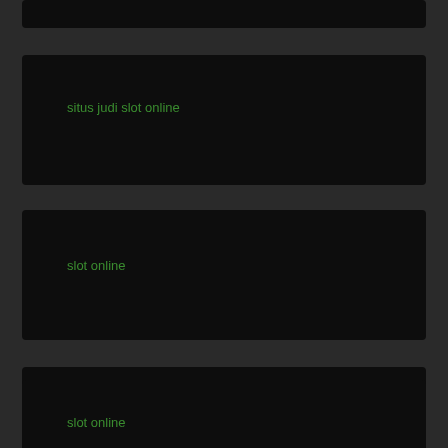situs judi slot online
slot online
슬롯 사이트
slot online